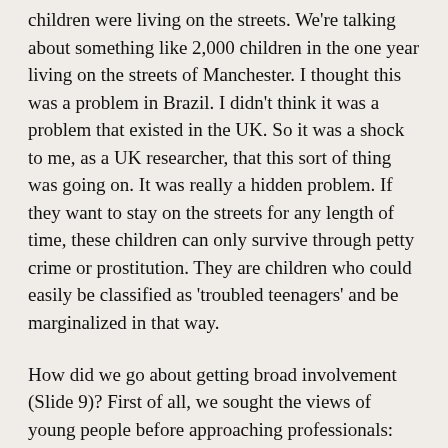children were living on the streets. We're talking about something like 2,000 children in the one year living on the streets of Manchester. I thought this was a problem in Brazil. I didn't think it was a problem that existed in the UK. So it was a shock to me, as a UK researcher, that this sort of thing was going on. It was really a hidden problem. If they want to stay on the streets for any length of time, these children can only survive through petty crime or prostitution. They are children who could easily be classified as 'troubled teenagers' and be marginalized in that way.
How did we go about getting broad involvement (Slide 9)? First of all, we sought the views of young people before approaching professionals: the voices of the young people were actually the foundation upon which the professionals could build commitment. Going to young people first was effective in harnessing multi-agency involvement because their voices were very, very powerful. It was really strong, emotional material that we generated through interviews